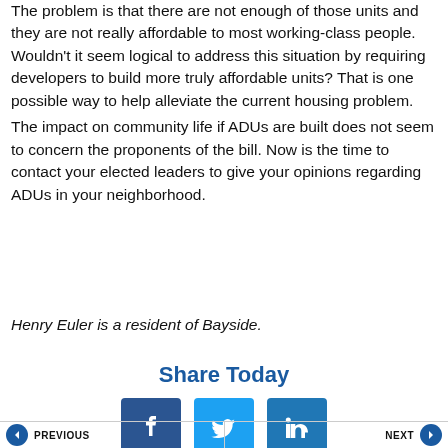The problem is that there are not enough of those units and they are not really affordable to most working-class people. Wouldn't it seem logical to address this situation by requiring developers to build more truly affordable units? That is one possible way to help alleviate the current housing problem.
The impact on community life if ADUs are built does not seem to concern the proponents of the bill. Now is the time to contact your elected leaders to give your opinions regarding ADUs in your neighborhood.
Henry Euler is a resident of Bayside.
Share Today